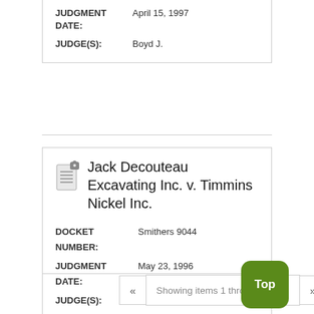JUDGMENT DATE: April 15, 1997
JUDGE(S): Boyd J.
Jack Decouteau Excavating Inc. v. Timmins Nickel Inc.
DOCKET NUMBER: Smithers 9044
JUDGMENT DATE: May 23, 1996
JUDGE(S): Boyle J.
Showing items 1 through 4 of 4.